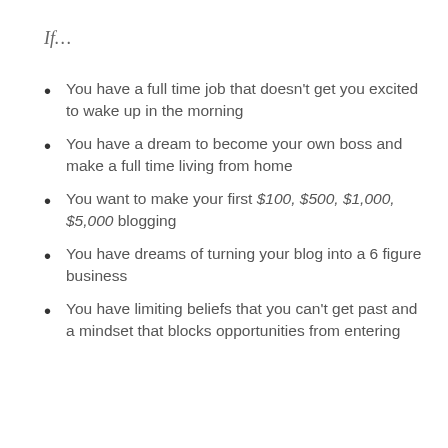If...
You have a full time job that doesn't get you excited to wake up in the morning
You have a dream to become your own boss and make a full time living from home
You want to make your first $100, $500, $1,000, $5,000 blogging
You have dreams of turning your blog into a 6 figure business
You have limiting beliefs that you can't get past and a mindset that blocks opportunities from entering